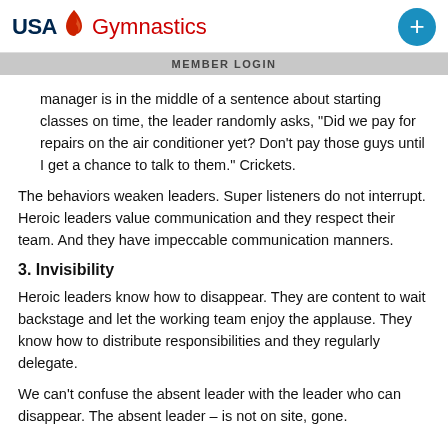[Figure (logo): USA Gymnastics logo with flame icon and red Gymnastics text, plus blue circle with plus sign on the right]
MEMBER LOGIN
manager is in the middle of a sentence about starting classes on time, the leader randomly asks, “Did we pay for repairs on the air conditioner yet? Don’t pay those guys until I get a chance to talk to them.” Crickets.
The behaviors weaken leaders. Super listeners do not interrupt. Heroic leaders value communication and they respect their team. And they have impeccable communication manners.
3. Invisibility
Heroic leaders know how to disappear. They are content to wait backstage and let the working team enjoy the applause. They know how to distribute responsibilities and they regularly delegate.
We can’t confuse the absent leader with the leader who can disappear. The absent leader – is not on site, gone.